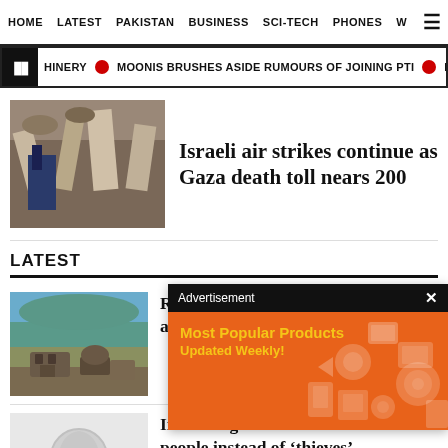HOME  LATEST  PAKISTAN  BUSINESS  SCI-TECH  PHONES  W
CHINERY  MOONIS BRUSHES ASIDE RUMOURS OF JOINING PTI  ISRAELI FOR
[Figure (photo): Photo of destruction/rubble scene with a person visible]
Israeli air strikes continue as Gaza death toll nears 200
LATEST
[Figure (photo): Photo of Yangtze River with receding water revealing rocks and statues]
Receding waters of Yangtze reveal ancient statues
[Figure (photo): Tribune placeholder logo image]
Imran urges ‘neutrals’ to stand with people instead of ‘thieves’
[Figure (infographic): Advertisement overlay: Most Popular Products Updated Weekly! on orange background with product icons]